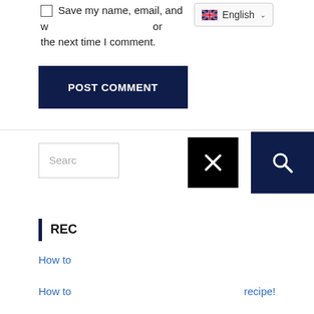Save my name, email, and w... or the next time I comment.
[Figure (screenshot): Language selector dropdown showing English with UK flag and chevron]
[Figure (screenshot): POST COMMENT button, dark navy blue background with white uppercase text]
[Figure (screenshot): Search input field with placeholder 'Searc', black X close button, and dark navy search icon button]
REC
How to
How to                                                    recipe!
What y